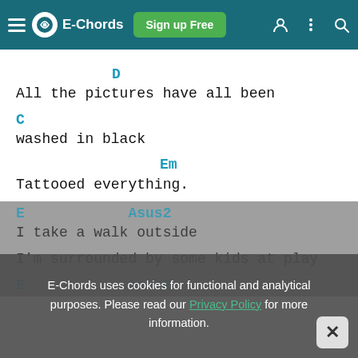E-Chords | Sign up Free
D
All the pictures have all been
C
washed in black
Em
Tattooed everything.
E   Asus2
I take a walk outside
I'm surrounded by some kids at play
E         Asus2
E-Chords uses cookies for functional and analytical purposes. Please read our Privacy Policy for more information.